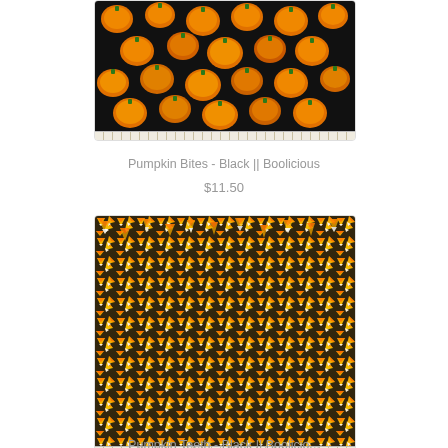[Figure (photo): Fabric swatch showing orange jack-o-lantern pumpkins on black background, with a ruler at the bottom. Product: Pumpkin Bites - Black || Boolicious]
Pumpkin Bites - Black || Boolicious
$11.50
[Figure (photo): Fabric swatch showing orange and yellow candy corn pieces on black background, with a ruler at the bottom. Product: Pumpkin Teeth - Black || Boolicious]
Pumpkin Teeth - Black || Boolicio...